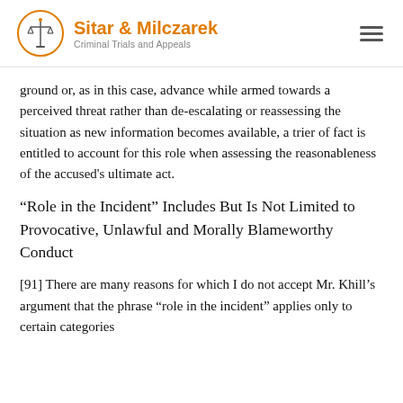Sitar & Milczarek — Criminal Trials and Appeals
ground or, as in this case, advance while armed towards a perceived threat rather than de-escalating or reassessing the situation as new information becomes available, a trier of fact is entitled to account for this role when assessing the reasonableness of the accused's ultimate act.
“Role in the Incident” Includes But Is Not Limited to Provocative, Unlawful and Morally Blameworthy Conduct
[91] There are many reasons for which I do not accept Mr. Khill’s argument that the phrase “role in the incident” applies only to certain categories